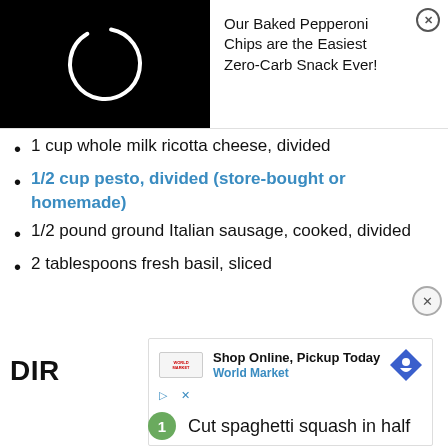[Figure (screenshot): Black background with a white partial circle/loading spinner in the center]
Our Baked Pepperoni Chips are the Easiest Zero-Carb Snack Ever!
1 cup whole milk ricotta cheese, divided
1/2 cup pesto, divided (store-bought or homemade)
1/2 pound ground Italian sausage, cooked, divided
2 tablespoons fresh basil, sliced
DIR
[Figure (screenshot): Ad overlay: Shop Online, Pickup Today - World Market with navigation/map pin icon]
Cut spaghetti squash in half